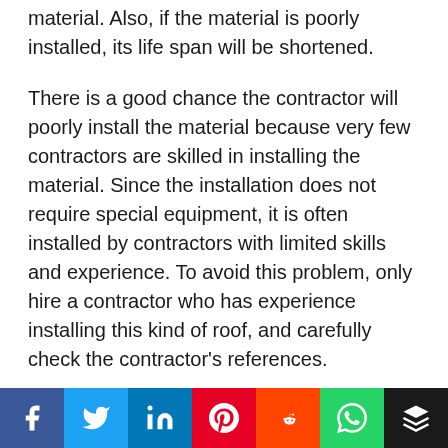material. Also, if the material is poorly installed, its life span will be shortened.
There is a good chance the contractor will poorly install the material because very few contractors are skilled in installing the material. Since the installation does not require special equipment, it is often installed by contractors with limited skills and experience. To avoid this problem, only hire a contractor who has experience installing this kind of roof, and carefully check the contractor's references.
For maintenance, regularly inspect the roof's adhesive (edges and seams). If it is damaged and worn, this...